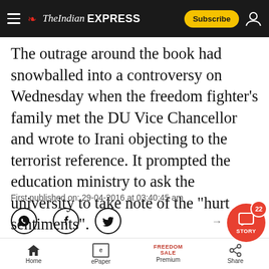The Indian EXPRESS
The outrage around the book had snowballed into a controversy on Wednesday when the freedom fighter’s family met the DU Vice Chancellor and wrote to Irani objecting to the terrorist reference. It prompted the education ministry to ask the university to take note of the “hurt sentiments”.
First published on: 29-04-2016 at 03:40:45 am
NEXT STORY ►
At Simhastha Kumbh, Kinnar Akhara becomes a huge a…
Home | ePaper | Premium | Share | STORY